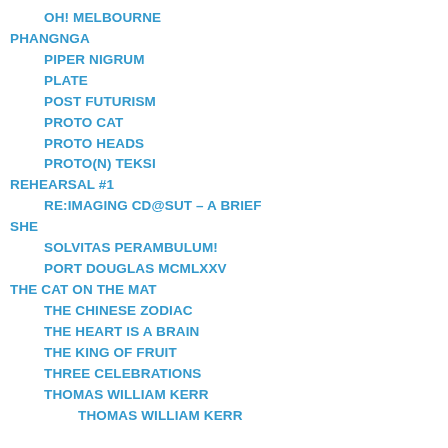OH! MELBOURNE
PHANGNGA
PIPER NIGRUM
PLATE
POST FUTURISM
PROTO CAT
PROTO HEADS
PROTO(N) TEKSI
REHEARSAL #1
RE:IMAGING CD@SUT – A BRIEF
SHE
SOLVITAS PERAMBULUM!
PORT DOUGLAS MCMLXXV
THE CAT ON THE MAT
THE CHINESE ZODIAC
THE HEART IS A BRAIN
THE KING OF FRUIT
THREE CELEBRATIONS
THOMAS WILLIAM KERR
THOMAS WILLIAM KERR